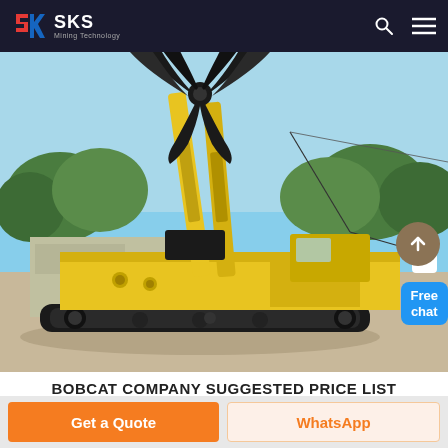SKS Mining Technology
[Figure (photo): Yellow tracked excavator/crane machine with claw attachment at top, parked in industrial yard with buildings and trees in background. The machine has a long boom arm with a grapple/claw at the top and is mounted on crawler tracks.]
BOBCAT COMPANY SUGGESTED PRICE LIST
Get a Quote
WhatsApp